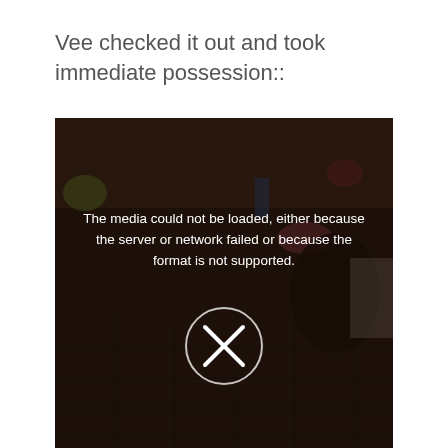Vee checked it out and took immediate possession::
[Figure (screenshot): A video player showing a failed/unloaded media state with a dark brownish background image (appears to show a pet in a wire cage area with toys). Over the darkened frame is a centered error message in white text reading 'The media could not be loaded, either because the server or network failed or because the format is not supported.' and a circular X (error/close) icon below the message.]